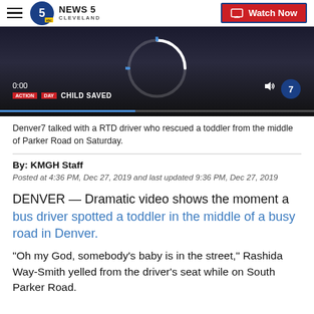NEWS 5 CLEVELAND | Watch Now
[Figure (screenshot): Video thumbnail showing a dark news broadcast screen with 'CHILD SAVED' text overlay, a loading spinner arc in blue and white, timestamp 0:00, and a progress bar. Text at bottom reads 'ACTION DAY | CHILD SAVED'.]
Denver7 talked with a RTD driver who rescued a toddler from the middle of Parker Road on Saturday.
By: KMGH Staff
Posted at 4:36 PM, Dec 27, 2019 and last updated 9:36 PM, Dec 27, 2019
DENVER — Dramatic video shows the moment a bus driver spotted a toddler in the middle of a busy road in Denver.
"Oh my God, somebody's baby is in the street," Rashida Way-Smith yelled from the driver's seat while on South Parker Road.